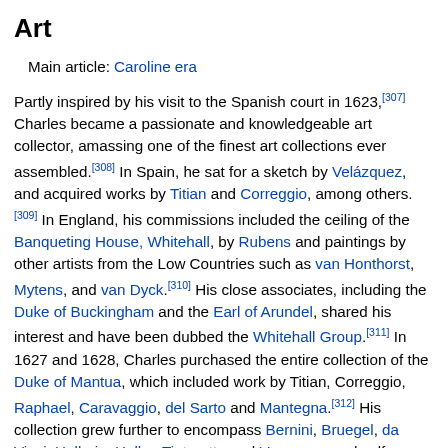Art
Main article: Caroline era
Partly inspired by his visit to the Spanish court in 1623,[307] Charles became a passionate and knowledgeable art collector, amassing one of the finest art collections ever assembled.[308] In Spain, he sat for a sketch by Velázquez, and acquired works by Titian and Correggio, among others.[309] In England, his commissions included the ceiling of the Banqueting House, Whitehall, by Rubens and paintings by other artists from the Low Countries such as van Honthorst, Mytens, and van Dyck.[310] His close associates, including the Duke of Buckingham and the Earl of Arundel, shared his interest and have been dubbed the Whitehall Group.[311] In 1627 and 1628, Charles purchased the entire collection of the Duke of Mantua, which included work by Titian, Correggio, Raphael, Caravaggio, del Sarto and Mantegna.[312] His collection grew further to encompass Bernini, Bruegel, da Vinci, Holbein, Hollar, Tintoretto and Veronese, and self-portraits by both Dürer and Rembrandt.[313] By Charles's death, there were an estimated 1,760 paintings,[314] most of which were sold and dispersed by Parliament.[315]